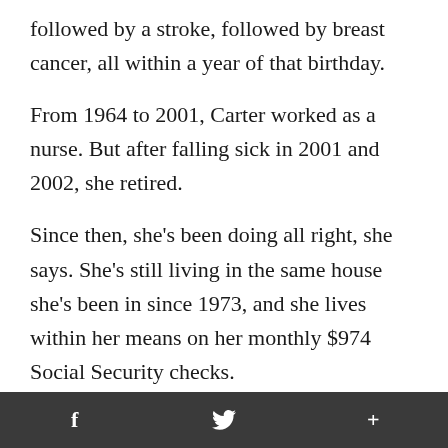followed by a stroke, followed by breast cancer, all within a year of that birthday.
From 1964 to 2001, Carter worked as a nurse. But after falling sick in 2001 and 2002, she retired.
Since then, she's been doing all right, she says. She's still living in the same house she's been in since 1973, and she lives within her means on her monthly $974 Social Security checks.
But in January of this year, she had to pay about $950 for homeowner's insurance and
f  [twitter]  +